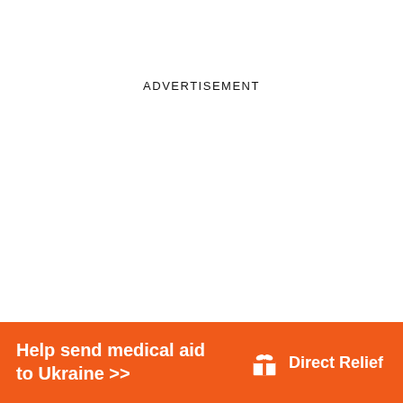ADVERTISEMENT
[Figure (infographic): Orange banner advertisement for Direct Relief: 'Help send medical aid to Ukraine >>' with Direct Relief logo (white box/gift icon) on the right.]